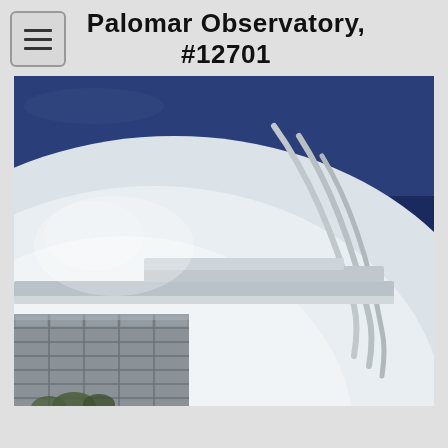Palomar Observatory, #12701
[Figure (photo): Close-up photograph of the Palomar Observatory dome against a deep blue sky. The white dome with ribbed/ridged structural panels is shown from below and to the side, with the rounded top and layered architectural details visible. Small trees or shrubs are partially visible at the bottom left.]